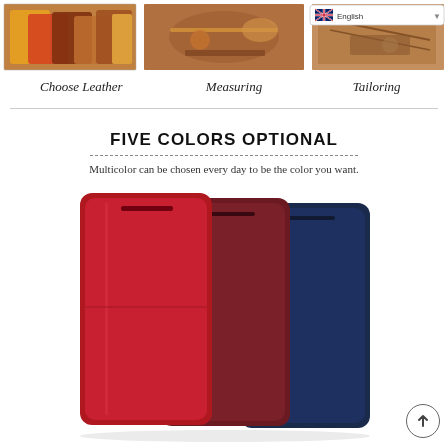[Figure (photo): Three process photos showing: leather swatches in various colors, a craftsman measuring leather, and a craftsman tailoring/sewing leather]
Choose Leather   Measuring   Tailoring
[Figure (photo): Three leather phone wallet cases in red, wine/burgundy, and navy blue colors fanned out]
FIVE COLORS OPTIONAL
Multicolor can be chosen every day to be the color you want.